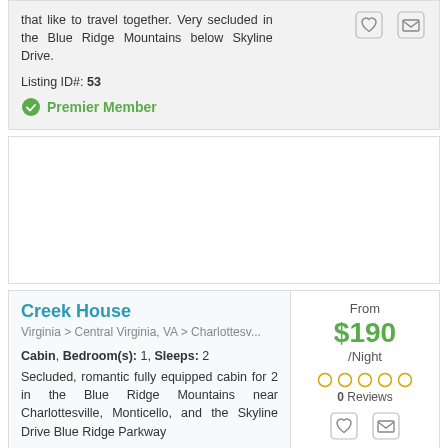that like to travel together. Very secluded in the Blue Ridge Mountains below Skyline Drive.
Listing ID#: 53
Premier Member
[Figure (other): Advertisement block (blank white area)]
Creek House
Virginia > Central Virginia, VA > Charlottesv...
Cabin, Bedroom(s): 1, Sleeps: 2
Secluded, romantic fully equipped cabin for 2 in the Blue Ridge Mountains near Charlottesville, Monticello, and the Skyline Drive Blue Ridge Parkway
From $190 /Night
0 Reviews